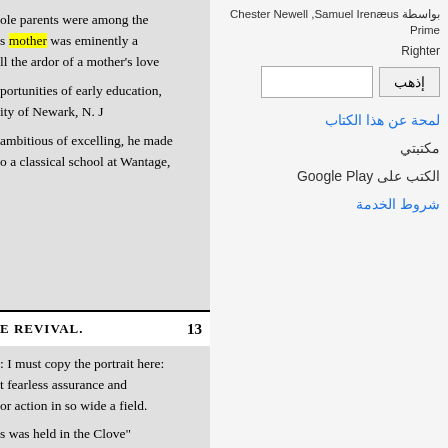ole parents were among the
s mother was eminently a
ll the ardor of a mother's love
portunities of early education,
ity of Newark, N. J
ambitious of excelling, he made
o a classical school at Wantage,
E REVIVAL.    13
I must copy the portrait here:
t fearless assurance and
or action in so wide a field.
home and remained there two
t Wantage, Chester joined him,
s was held in the Clove"
re allowed to attend the
بواسطة Chester Newell ,Samuel Irenæus Prime
Righter
[Figure (screenshot): Search box with Arabic button labeled إذهب and an empty text input field]
لمحة عن هذا الكتاب
مكتبتي
الكتب على Google Play
شروط الخدمة